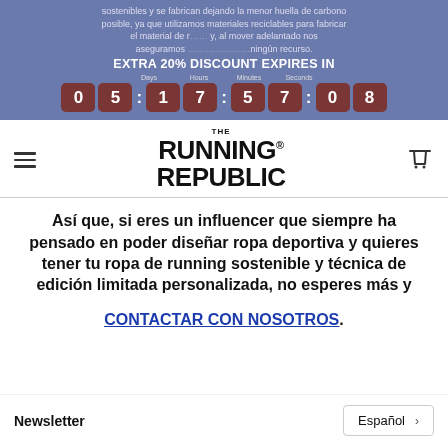sostenibles y se fabrican dejando la menor huella de carbono posible, ya que utilizamos materiales reciclables para fabricar el material de running veloz y, al mover adelantado nos aseguramos de que no se desperdicia ningún recurso.
EXTRA 20% DISCOUNT EXPIRES IN 05:17:57:08
[Figure (screenshot): The Running Republic logo with hamburger menu and shopping cart icon navigation bar]
Así que, si eres un influencer que siempre ha pensado en poder diseñar ropa deportiva y quieres tener tu ropa de running sostenible y técnica de edición limitada personalizada, no esperes más y
CONTACTAR CON NOSOTROS.
Newsletter | Español >